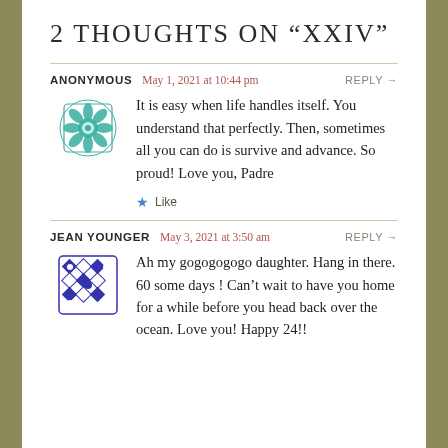2 THOUGHTS ON “XXIV”
ANONYMOUS   May 1, 2021 at 10:44 pm   REPLY →
It is easy when life handles itself. You understand that perfectly. Then, sometimes all you can do is survive and advance. So proud! Love you, Padre
★ Like
JEAN YOUNGER   May 3, 2021 at 3:50 am   REPLY →
Ah my gogogogogo daughter. Hang in there. 60 some days ! Can’t wait to have you home for a while before you head back over the ocean. Love you! Happy 24!!